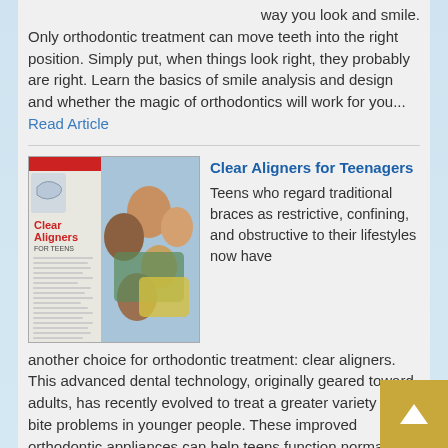way you look and smile. Only orthodontic treatment can move teeth into the right position. Simply put, when things look right, they probably are right. Learn the basics of smile analysis and design and whether the magic of orthodontics will work for you... Read Article
[Figure (illustration): Cover image of 'Clear Aligners for Teens' magazine article showing a clear aligner device on the left and a group of smiling teenagers on the right]
Clear Aligners for Teenagers
Teens who regard traditional braces as restrictive, confining, and obstructive to their lifestyles now have another choice for orthodontic treatment: clear aligners. This advanced dental technology, originally geared toward adults, has recently evolved to treat a greater variety of bite problems in younger people. These improved orthodontic appliances can help teens function normally